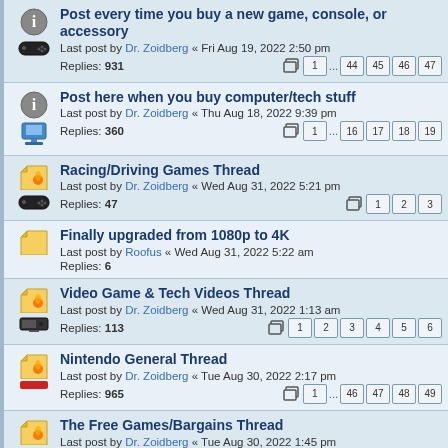Post every time you buy a new game, console, or accessory
Last post by Dr. Zoidberg « Fri Aug 19, 2022 2:50 pm
Replies: 931
Pages: 1 ... 44 45 46 47
Post here when you buy computer/tech stuff
Last post by Dr. Zoidberg « Thu Aug 18, 2022 9:39 pm
Replies: 360
Pages: 1 ... 16 17 18 19
Racing/Driving Games Thread
Last post by Dr. Zoidberg « Wed Aug 31, 2022 5:21 pm
Replies: 47
Pages: 1 2 3
Finally upgraded from 1080p to 4K
Last post by Roofus « Wed Aug 31, 2022 5:22 am
Replies: 6
Video Game & Tech Videos Thread
Last post by Dr. Zoidberg « Wed Aug 31, 2022 1:13 am
Replies: 113
Pages: 1 2 3 4 5 6
Nintendo General Thread
Last post by Dr. Zoidberg « Tue Aug 30, 2022 2:17 pm
Replies: 965
Pages: 1 ... 46 47 48 49
The Free Games/Bargains Thread
Last post by Dr. Zoidberg « Tue Aug 30, 2022 1:45 pm
Replies: 735
Pages: 1 ... 34 35 36 37
Sony General Games Thread
Last post by Hawg « Tue Aug 30, 2022 4:06 am